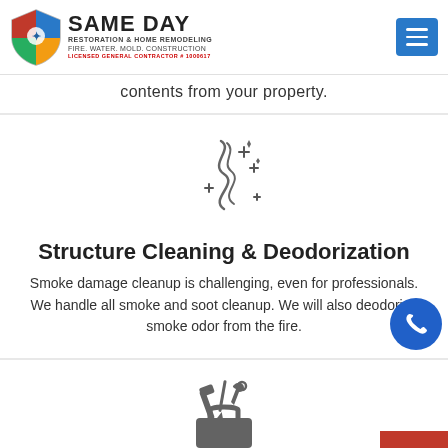[Figure (logo): Same Day Restoration & Home Remodeling logo with shield icon and hamburger menu button]
contents from your property.
[Figure (illustration): Cleaning sparkle/smoke decorative icon]
Structure Cleaning & Deodorization
Smoke damage cleanup is challenging, even for professionals. We handle all smoke and soot cleanup. We will also deodorize smoke odor from the fire.
[Figure (illustration): Toolbox with tools icon]
Full Fire Repairs